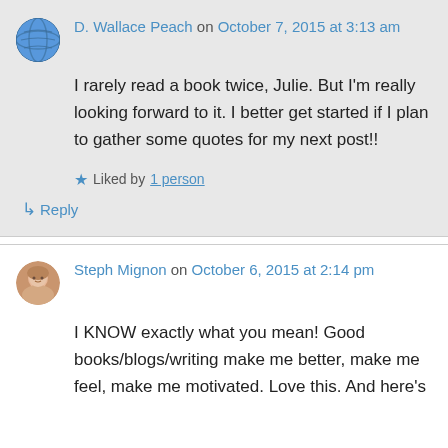D. Wallace Peach on October 7, 2015 at 3:13 am
I rarely read a book twice, Julie. But I'm really looking forward to it. I better get started if I plan to gather some quotes for my next post!!
★ Liked by 1 person
↳ Reply
Steph Mignon on October 6, 2015 at 2:14 pm
I KNOW exactly what you mean! Good books/blogs/writing make me better, make me feel, make me motivated. Love this. And here's